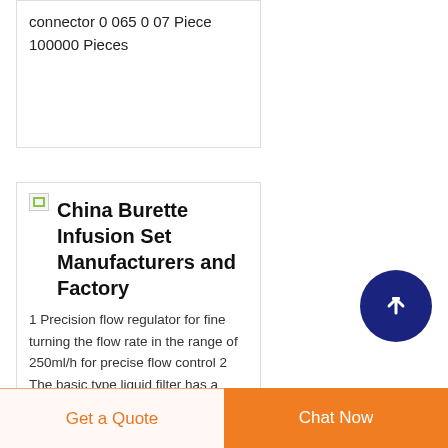connector 0 065 0 07 Piece 100000 Pieces
[Figure (screenshot): Broken image icon placeholder for China Burette Infusion Set product]
China Burette Infusion Set Manufacturers and Factory
1 Precision flow regulator for fine turning the flow rate in the range of 250ml/h for precise flow control 2 The basic type liquid filter has a filtration rate of more than 80 for the particles of 15umthe filter medium of the precision type
[Figure (infographic): Dark blue circle button with white upward arrow, scroll-to-top UI element]
Get a Quote
Chat Now